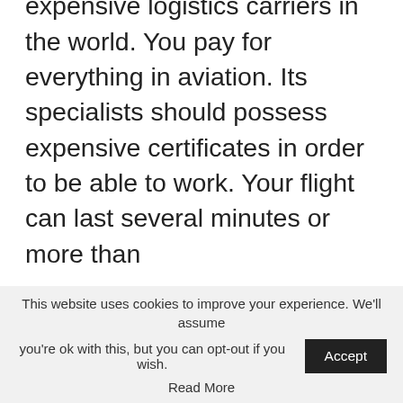Aviation is one of the most expensive logistics carriers in the world. You pay for everything in aviation. Its specialists should possess expensive certificates in order to be able to work. Your flight can last several minutes or more than
This website uses cookies to improve your experience. We'll assume you're ok with this, but you can opt-out if you wish.
Read More